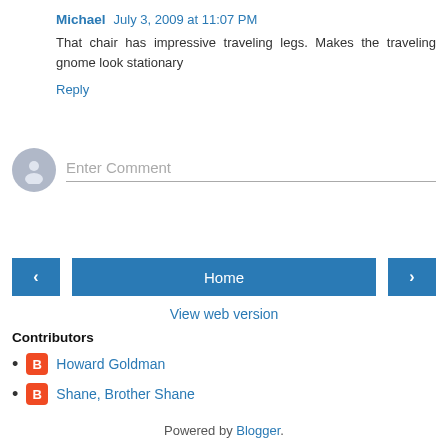Michael  July 3, 2009 at 11:07 PM
That chair has impressive traveling legs. Makes the traveling gnome look stationary
Reply
[Figure (other): Comment input area with avatar icon and Enter Comment placeholder text]
[Figure (other): Navigation bar with left arrow button, Home button, and right arrow button]
View web version
Contributors
Howard Goldman
Shane, Brother Shane
Powered by Blogger.